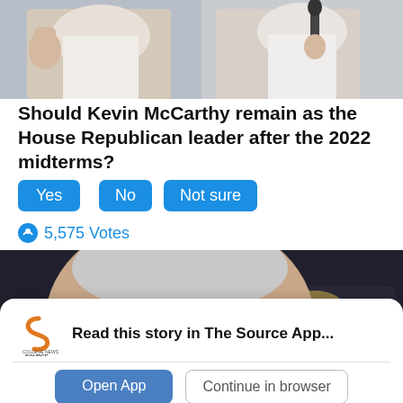[Figure (photo): Two cropped photos side by side at top: left shows a person in white, right shows a person in white holding a microphone]
Should Kevin McCarthy remain as the House Republican leader after the 2022 midterms?
Yes
No
Not sure
5,575 Votes
[Figure (photo): Close-up photo of an older man with gray/white hair, photographers in background, dark setting]
Read this story in The Source App...
Open App
Continue in browser